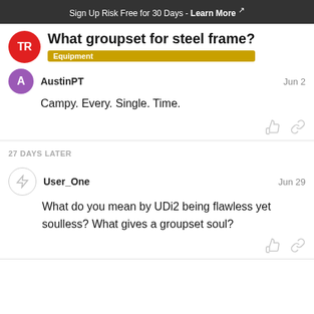Sign Up Risk Free for 30 Days - Learn More
What groupset for steel frame?
Equipment
AustinPT
Jun 2
Campy. Every. Single. Time.
27 DAYS LATER
User_One
Jun 29
What do you mean by UDi2 being flawless yet soulless? What gives a groupset soul?